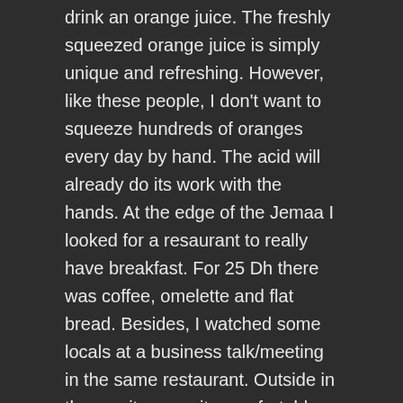drink an orange juice. The freshly squeezed orange juice is simply unique and refreshing. However, like these people, I don't want to squeeze hundreds of oranges every day by hand. The acid will already do its work with the hands. At the edge of the Jemaa I looked for a resaurant to really have breakfast. For 25 Dh there was coffee, omelette and flat bread. Besides, I watched some locals at a business talk/meeting in the same restaurant. Outside in the sun it was quite comfortable, but flies and bees were extremely annoying and wanted to constantly make fun of my coffee and my sweet pastries. I still had the 24 h bus round trip map and decided to take the tour outside the city and complete it with it.
But I didn't go directly to the bus stop at Jemaa but went north through the medina to the north gate, where the bus station should be. The northern medina again had all kinds of food to offer, some of it needed getting used to like...